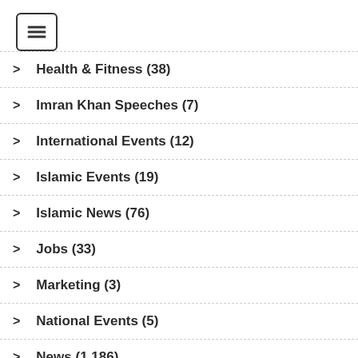[Figure (other): Hamburger menu button icon with three horizontal lines inside a rounded rectangle border]
> Health & Fitness (38)
> Imran Khan Speeches (7)
> International Events (12)
> Islamic Events (19)
> Islamic News (76)
> Jobs (33)
> Marketing (3)
> National Events (5)
> News (1,186)
> News in Image (689)